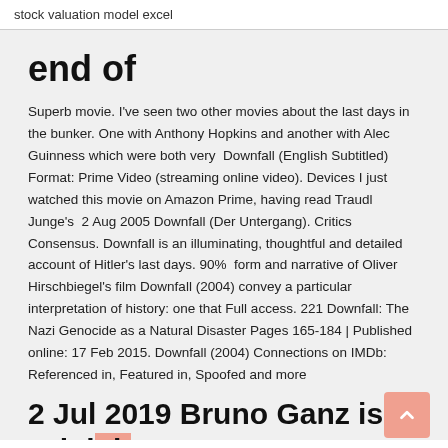stock valuation model excel
end of
Superb movie. I've seen two other movies about the last days in the bunker. One with Anthony Hopkins and another with Alec Guinness which were both very  Downfall (English Subtitled) Format: Prime Video (streaming online video). Devices I just watched this movie on Amazon Prime, having read Traudl Junge's  2 Aug 2005 Downfall (Der Untergang). Critics Consensus. Downfall is an illuminating, thoughtful and detailed account of Hitler's last days. 90%  form and narrative of Oliver Hirschbiegel's film Downfall (2004) convey a particular interpretation of history: one that Full access. 221 Downfall: The Nazi Genocide as a Natural Disaster Pages 165-184 | Published online: 17 Feb 2015. Downfall (2004) Connections on IMDb: Referenced in, Featured in, Spoofed and more
2 Jul 2019 Bruno Ganz is Adolph Hitler in the...